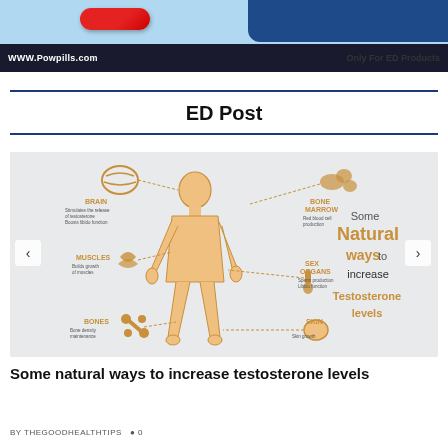[Figure (infographic): Website banner for WWW.Powpills.com - Only For ED Products, showing red pill and blue design elements]
ED Post
[Figure (infographic): Medical infographic showing a human body outline with arrows pointing to various body parts labeled: BRAIN, BONE MARROW, MUSCLES, SEX ORGANS, SKIN, BONES. Right side text reads: Some Natural ways to increase Testosterone levels. Navigation arrows on left and right sides.]
Some natural ways to increase testosterone levels
BY THEGOODHEALTHTIPS